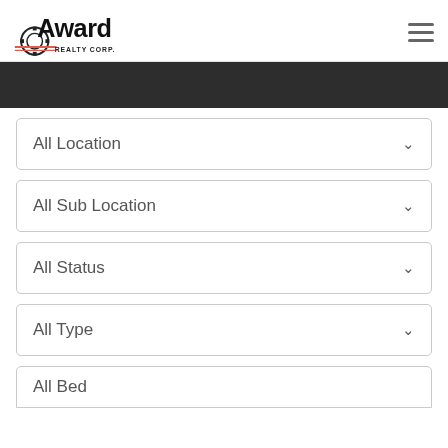[Figure (logo): Award Realty Corp logo with stylized 'Award' text and gear/wheel emblem with red horizontal lines]
All Location
All Sub Location
All Status
All Type
All Bed...